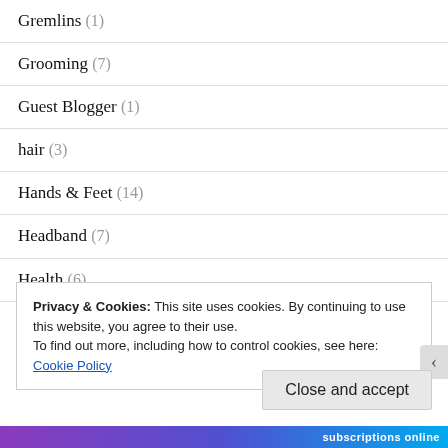Gremlins (1)
Grooming (7)
Guest Blogger (1)
hair (3)
Hands & Feet (14)
Headband (7)
Health (6)
Privacy & Cookies: This site uses cookies. By continuing to use this website, you agree to their use.
To find out more, including how to control cookies, see here: Cookie Policy
Close and accept